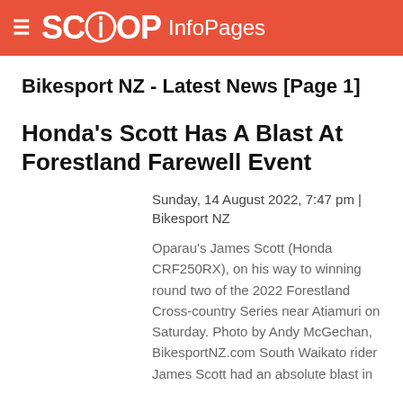SCOOP InfoPages
Bikesport NZ - Latest News [Page 1]
Honda's Scott Has A Blast At Forestland Farewell Event
Sunday, 14 August 2022, 7:47 pm | Bikesport NZ
Oparau's James Scott (Honda CRF250RX), on his way to winning round two of the 2022 Forestland Cross-country Series near Atiamuri on Saturday. Photo by Andy McGechan, BikesportNZ.com South Waikato rider James Scott had an absolute blast in